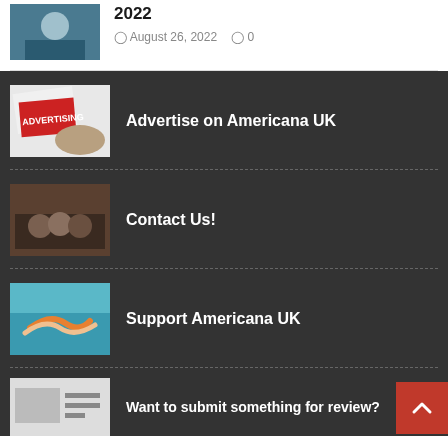2022
August 26, 2022   0
Advertise on Americana UK
Contact Us!
Support Americana UK
Want to submit something for review?